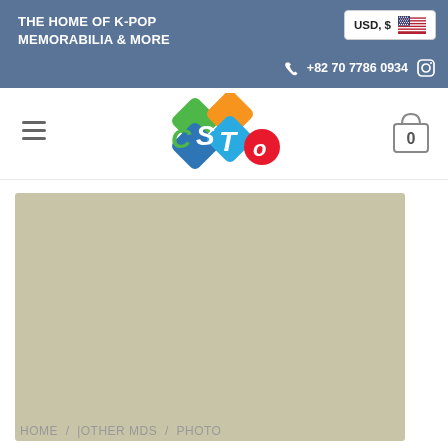THE HOME OF K-POP MEMORABILIA & MORE
USD, $
+82 70 7786 0934
[Figure (logo): CSTO K-pop store logo with colorful shapes and letters]
[Figure (photo): K-pop signed photo cards with Korean handwritten signatures and idol photos]
HOME / |OTHER MDS / PHOTO